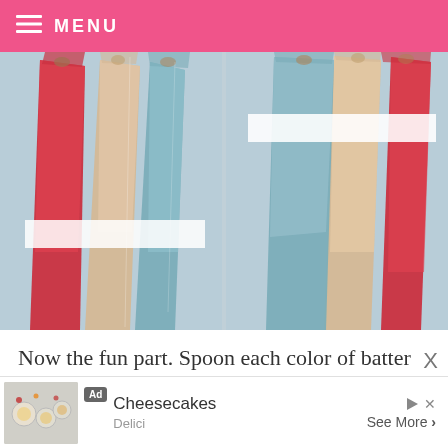MENU
[Figure (photo): Two sets of three piping bags filled with red, cream/tan, and blue/teal batter, placed side by side on a blue background. Left photo shows bags bundled together with tape; right photo shows bags laid flat.]
Now the fun part. Spoon each color of batter into a
Ad  Cheesecakes  Delici  See More >